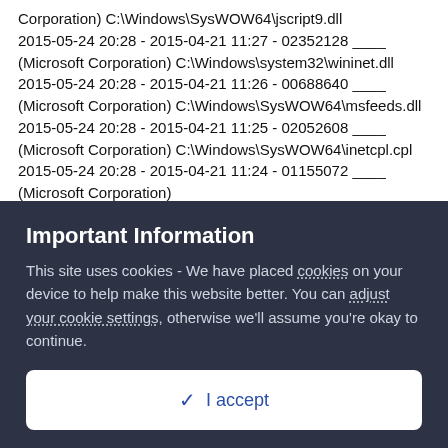Corporation) C:\Windows\SysWOW64\jscript9.dll
2015-05-24 20:28 - 2015-04-21 11:27 - 02352128 ____ (Microsoft Corporation) C:\Windows\system32\wininet.dll
2015-05-24 20:28 - 2015-04-21 11:26 - 00688640 ____ (Microsoft Corporation) C:\Windows\SysWOW64\msfeeds.dll
2015-05-24 20:28 - 2015-04-21 11:25 - 02052608 ____ (Microsoft Corporation) C:\Windows\SysWOW64\inetcpl.cpl
2015-05-24 20:28 - 2015-04-21 11:24 - 01155072 ____ (Microsoft Corporation) C:\Windows\SysWOW64\mshtmlmedia.dll
2015-05-24 20:28 - 2015-04-21 11:17 - 12828672 ____ (Microsoft Corporation) C:\Windows\SysWOW64\ieframe.dll
2015-05-24 20:28 - 2015-04-21 11:15 - 01547264 ____ (Microsoft Corporation) C:\Windows\system32\urlmon.dll
Important Information
This site uses cookies - We have placed cookies on your device to help make this website better. You can adjust your cookie settings, otherwise we'll assume you're okay to continue.